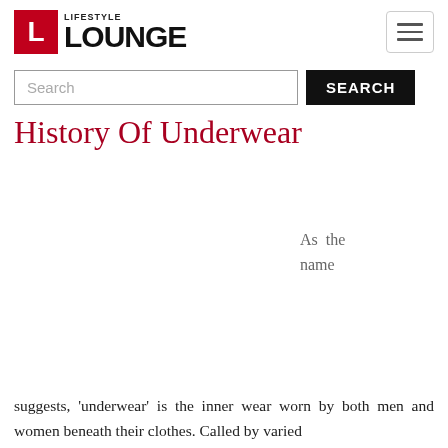LIFESTYLE LOUNGE
Search
History Of Underwear
As the name
suggests, 'underwear' is the inner wear worn by both men and women beneath their clothes. Called by varied